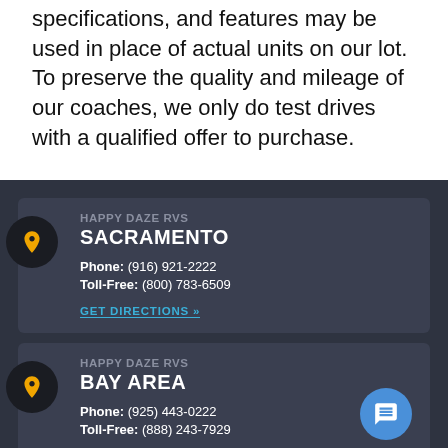specifications, and features may be used in place of actual units on our lot. To preserve the quality and mileage of our coaches, we only do test drives with a qualified offer to purchase.
HAPPY DAZE RVS SACRAMENTO Phone: (916) 921-2222 Toll-Free: (800) 783-6509 GET DIRECTIONS »
HAPPY DAZE RVS BAY AREA Phone: (925) 443-0222 Toll-Free: (888) 243-7929